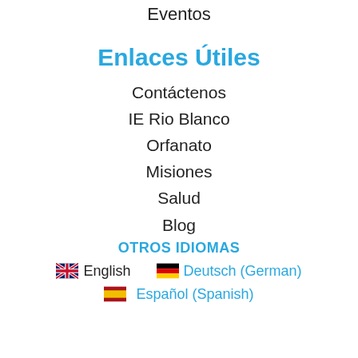Eventos
Enlaces Útiles
Contáctenos
IE Rio Blanco
Orfanato
Misiones
Salud
Blog
OTROS IDIOMAS
English   Deutsch (German)
Español (Spanish)